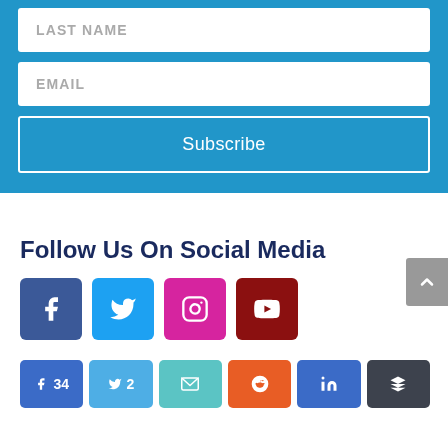[Figure (screenshot): Web form with LAST NAME and EMAIL input fields on blue background]
Subscribe
Follow Us On Social Media
[Figure (infographic): Social media icons: Facebook, Twitter, Instagram, YouTube]
[Figure (infographic): Share buttons: Facebook (34), Twitter (2), Email, Reddit, LinkedIn, Buffer]